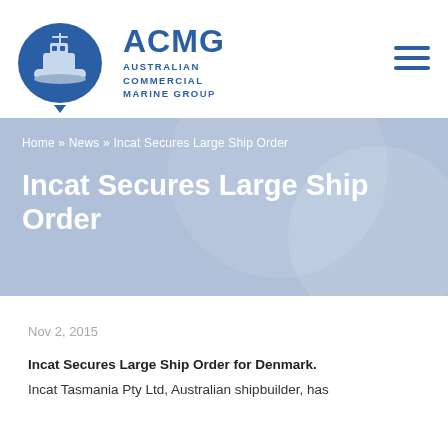ACMG Australian Commercial Marine Group
Home » News » Incat Secures Large Ship Order
Incat Secures Large Ship Order
Nov 2, 2015
Incat Secures Large Ship Order for Denmark.
Incat Tasmania Pty Ltd, Australian shipbuilder, has